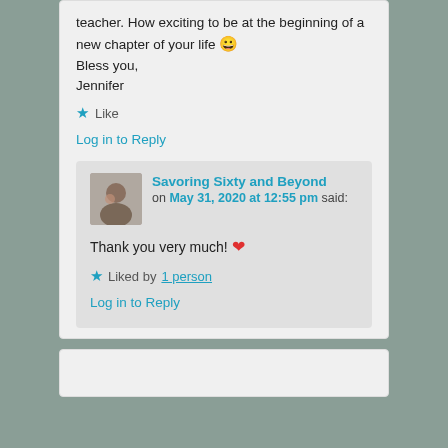teacher. How exciting to be at the beginning of a new chapter of your life 😀
Bless you,
Jennifer
★ Like
Log in to Reply
Savoring Sixty and Beyond on May 31, 2020 at 12:55 pm said:
Thank you very much! ❤
★ Liked by 1 person
Log in to Reply